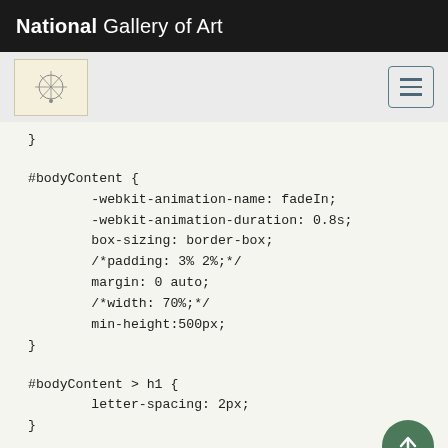National Gallery of Art
[Figure (screenshot): Navigation bar with NGA exhibition logo and hamburger menu button]
}

#bodyContent {
        -webkit-animation-name: fadeIn;
        -webkit-animation-duration: 0.8s;
        box-sizing: border-box;
        /*padding: 3% 2%;*/
        margin: 0 auto;
        /*width: 70%;*/
        min-height:500px;
}

#bodyContent > h1 {
        letter-spacing: 2px;
}

#bodyContent p, #bodyContent dd,